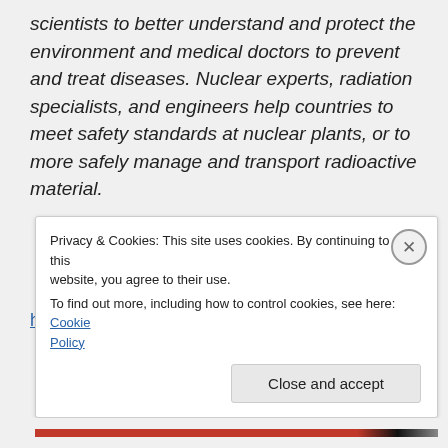scientists to better understand and protect the environment and medical doctors to prevent and treat diseases. Nuclear experts, radiation specialists, and engineers help countries to meet safety standards at nuclear plants, or to more safely manage and transport radioactive material.
http://www.iaea.org/About/staff.html
Privacy & Cookies: This site uses cookies. By continuing to use this website, you agree to their use.
To find out more, including how to control cookies, see here: Cookie Policy
Close and accept